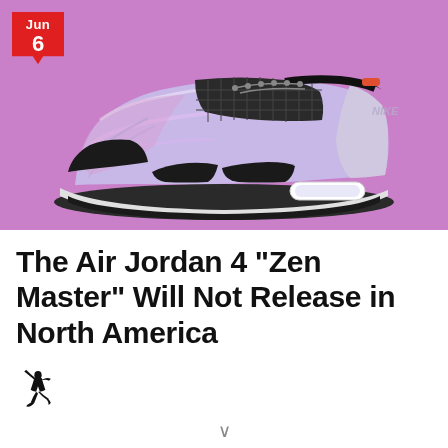[Figure (photo): Air Jordan 4 Zen Master sneaker on a purple/pink background with a red calendar badge showing Jun 6]
The Air Jordan 4 “Zen Master” Will Not Release in North America
[Figure (logo): Jordan Brand Jumpman logo]